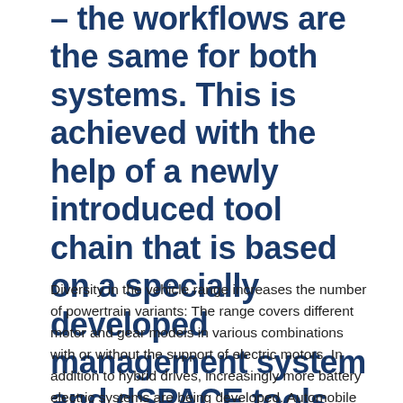– the workflows are the same for both systems. This is achieved with the help of a newly introduced tool chain that is based on a specially developed management system and dSPACE tools.
Diversity in the vehicle range increases the number of powertrain variants: The range covers different motor and gear models in various combinations with or without the support of electric motors. In addition to hybrid drives, increasingly more battery electric systems are being developed. Automobile